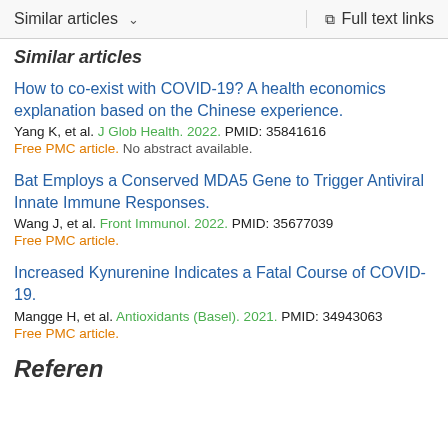Similar articles   ∨   Full text links
Similar articles (partial heading visible)
How to co-exist with COVID-19? A health economics explanation based on the Chinese experience.
Yang K, et al. J Glob Health. 2022. PMID: 35841616
Free PMC article. No abstract available.
Bat Employs a Conserved MDA5 Gene to Trigger Antiviral Innate Immune Responses.
Wang J, et al. Front Immunol. 2022. PMID: 35677039
Free PMC article.
Increased Kynurenine Indicates a Fatal Course of COVID-19.
Mangge H, et al. Antioxidants (Basel). 2021. PMID: 34943063
Free PMC article.
References